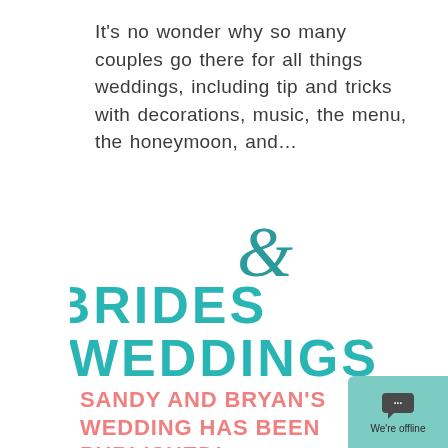It's no wonder why so many couples go there for all things weddings, including tip and tricks with decorations, music, the menu, the honeymoon, and...
[Figure (logo): Brides & Weddings logo — 'BRIDES' and 'WEDDINGS' in bold teal/cyan uppercase letters with a decorative teal ampersand '&' in a script-style font above and between the two words]
SANDY AND BRYAN'S WEDDING HAS BEEN PUBLISHED!
[Figure (screenshot): A teal chat widget popup in the bottom right corner showing a speech bubble icon with '...' and the text 'We're offline']